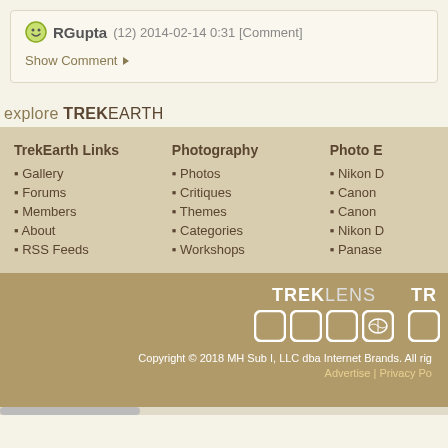RGupta (12) 2014-02-14 0:31 [Comment]
Show Comment ▶
explore TREKEARTH
TrekEarth Links
Gallery
Forums
Members
About
RSS Feeds
Photography
Photos
Critiques
Themes
Categories
Workshops
Photo E…
Nikon D…
Canon …
Canon …
Nikon D…
Panase…
[Figure (logo): TREKLENS logo with grid of square icons]
[Figure (logo): TR logo (partial, cropped)]
Copyright © 2018 MH Sub I, LLC dba Internet Brands. All rig…
Advertise | Privacy Po…